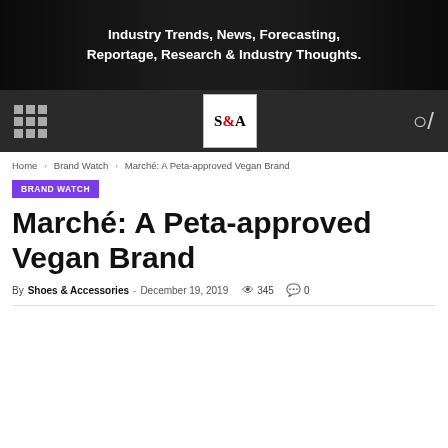Industry Trends, News, Forecasting, Reportage, Research & Industry Thoughts.
[Figure (logo): S&A magazine logo in white box with navigation bar (grid icon left, S&A logo center, search icon right) on dark background]
Home > Brand Watch > Marché: A Peta-approved Vegan Brand
BRAND WATCH
Marché: A Peta-approved Vegan Brand
By Shoes & Accessories - December 19, 2019  345  0